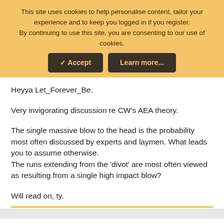This site uses cookies to help personalise content, tailor your experience and to keep you logged in if you register.
By continuing to use this site, you are consenting to our use of cookies.
✓ Accept    Learn more...
Heyya Let_Forever_Be.
Very invigorating discussion re CW's AEA theory.
The single massive blow to the head is the probability most often discussed by experts and laymen. What leads you to assume otherwise.
The runs extending from the 'divot' are most often viewed as resulting from a single high impact blow?
Will read on, ty.